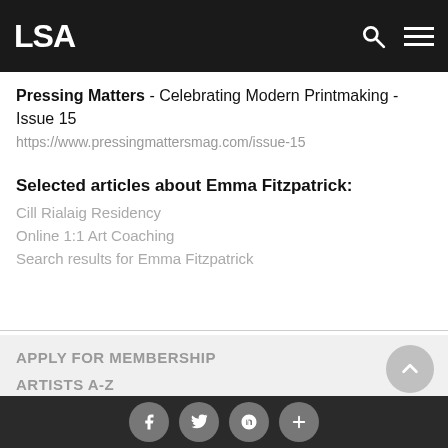LSA
Pressing Matters - Celebrating Modern Printmaking - Issue 15
https://www.pressingmattersmag.com/issue-15
Selected articles about Emma Fitzpatrick:
Cill Rialaig Residency
Online 1:1 Art Coaching
Search results for Emma Fitzpatrick
APPLY FOR MEMBERSHIP
ARTISTS A-Z
f  t  p  +